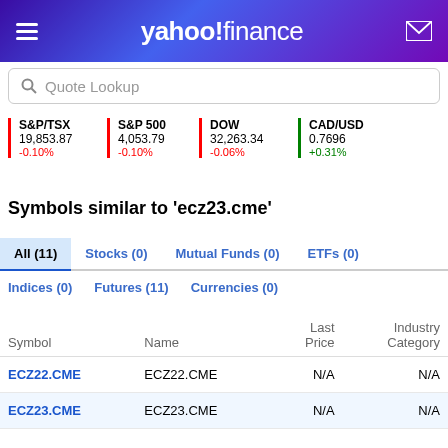yahoo! finance
Quote Lookup
S&P/TSX 19,853.87 -0.10% | S&P 500 4,053.79 -0.10% | DOW 32,263.34 -0.06% | CAD/USD 0.7696 +0.31%
Symbols similar to 'ecz23.cme'
All (11)  Stocks (0)  Mutual Funds (0)  ETFs (0)
Indices (0)  Futures (11)  Currencies (0)
| Symbol | Name | Last
Price | Industry
Category |
| --- | --- | --- | --- |
| ECZ22.CME | ECZ22.CME | N/A | N/A |
| ECZ23.CME | ECZ23.CME | N/A | N/A |